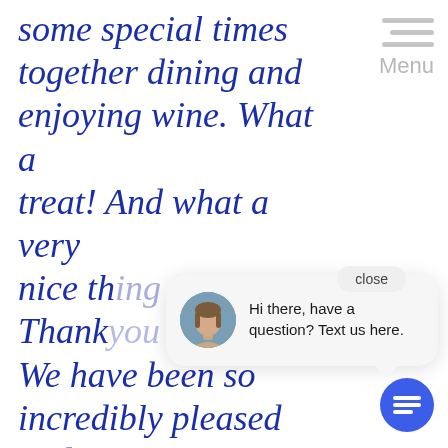some special times together dining and enjoying wine. What a treat! And what a very nice th... (obscured) Thank... We have been so incredibly pleased and
[Figure (screenshot): Hamburger menu icon (three horizontal gray bars) with 'Menu' label, top right corner]
[Figure (screenshot): Chat popup with a woman's avatar photo and text: 'Hi there, have a question? Text us here.' with a close button and chat bubble button]
Hi there, have a question? Text us here.